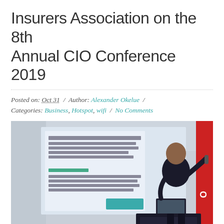Insurers Association on the 8th Annual CIO Conference 2019
Posted on: Oct 31  /  Author: Alexander Okelue  /  Categories: Business, Hotspot, wifi  /  No Comments
[Figure (photo): Speaker presenting at a conference, standing at a podium with a presentation screen visible in the background showing VoIP/telecom product information.]